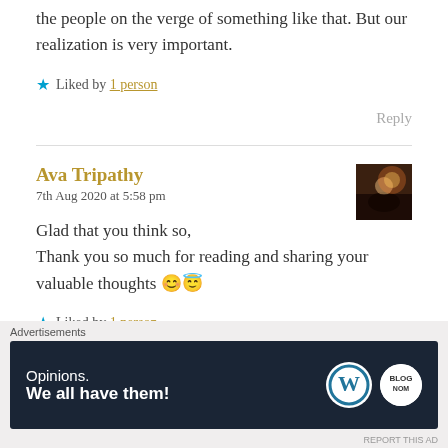the people on the verge of something like that. But our realization is very important.
★ Liked by 1 person
Reply
Ava Tripathy
7th Aug 2020 at 5:58 pm
Glad that you think so,
Thank you so much for reading and sharing your valuable thoughts 😊😇
★ Liked by 1 person
[Figure (photo): Small thumbnail avatar photo showing silhouetted figures against a warm light background]
Advertisements
Opinions. We all have them!